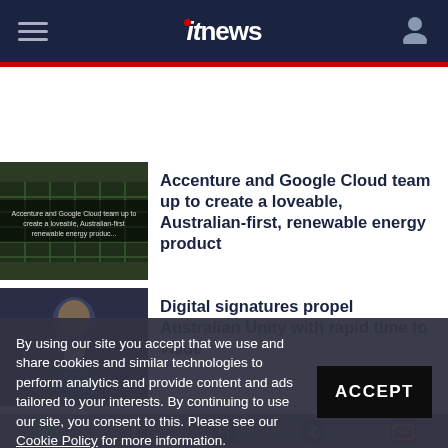itnews
Accenture and Google Cloud team up to create a loveable, Australian-first, renewable energy product
[Figure (photo): Thumbnail image showing solar panels with text overlay about Accenture and Google Cloud]
Digital signatures propel Australian Unity with rapid time to value
[Figure (photo): Man in dark suit with orange pocket square holding a tablet]
By using our site you accept that we use and share cookies and similar technologies to perform analytics and provide content and ads tailored to your interests. By continuing to use our site, you consent to this. Please see our Cookie Policy for more information.